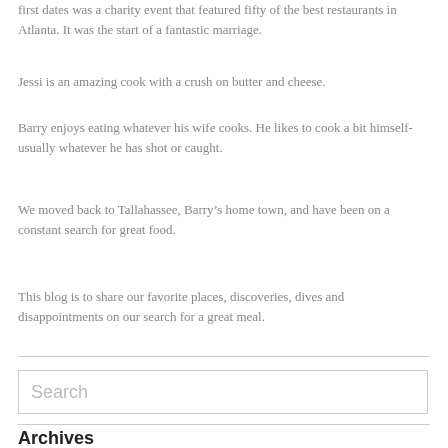first dates was a charity event that featured fifty of the best restaurants in Atlanta. It was the start of a fantastic marriage.
Jessi is an amazing cook with a crush on butter and cheese.
Barry enjoys eating whatever his wife cooks. He likes to cook a bit himself- usually whatever he has shot or caught.
We moved back to Tallahassee, Barry’s home town, and have been on a constant search for great food.
This blog is to share our favorite places, discoveries, dives and disappointments on our search for a great meal.
Search
Archives
May 2013